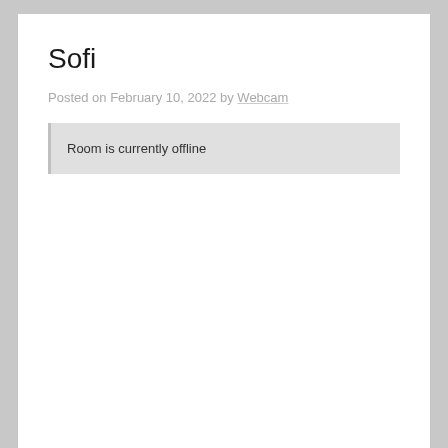Sofi
Posted on February 10, 2022 by Webcam
Room is currently offline